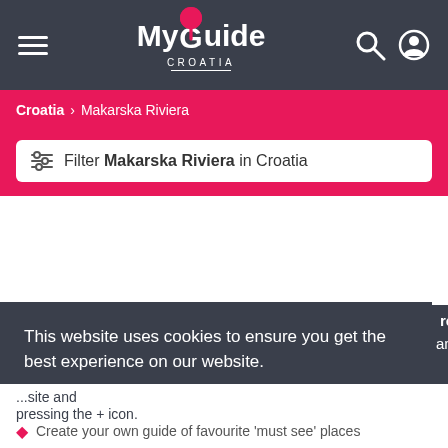My Guide CROATIA
Croatia > Makarska Riviera
Filter Makarska Riviera in Croatia
This website uses cookies to ensure you get the best experience on our website. Learn more
Got it!
Croatia with fr...amily!
Add recommendations to your guide by browsing the website and pressing the + icon.
Create your own guide of favourite 'must see' places